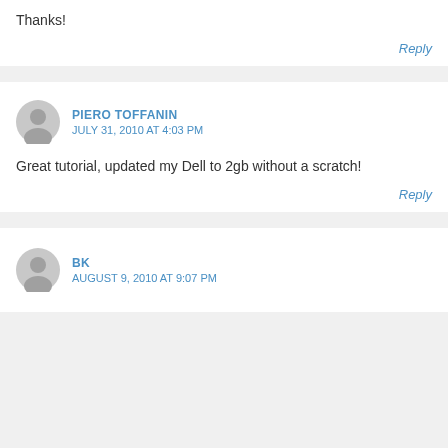Thanks!
Reply
PIERO TOFFANIN
JULY 31, 2010 AT 4:03 PM
Great tutorial, updated my Dell to 2gb without a scratch!
Reply
BK
AUGUST 9, 2010 AT 9:07 PM